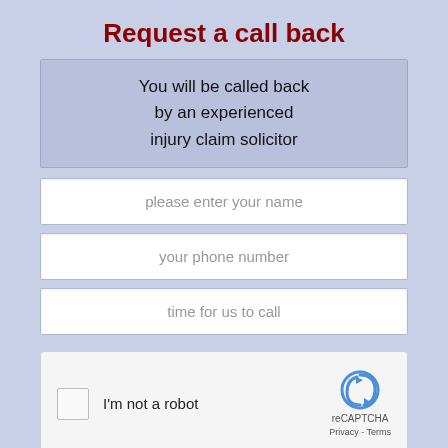Request a call back
You will be called back by an experienced injury claim solicitor
please enter your name
your phone number
time for us to call
[Figure (other): reCAPTCHA widget with checkbox labeled 'I'm not a robot' and reCAPTCHA logo with Privacy - Terms links]
Call me Back